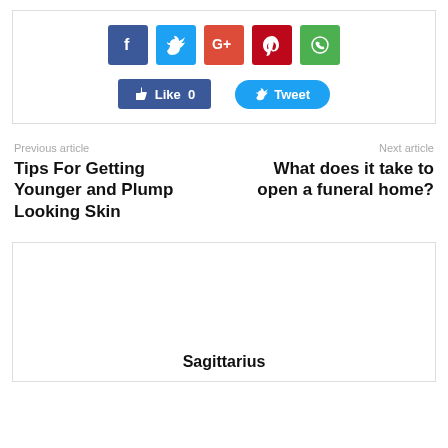[Figure (infographic): Social share buttons: Facebook (f), Twitter, Google+, Pinterest, WhatsApp icons in colored squares, plus Like 0 and Tweet buttons]
Previous article
Tips For Getting Younger and Plump Looking Skin
Next article
What does it take to open a funeral home?
Sagittarius